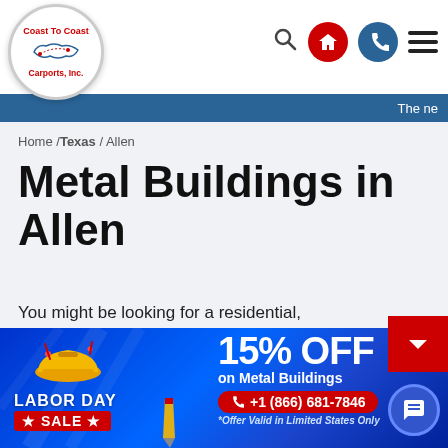Coast To Coast Carports, Inc. — navigation header with logo, search, home, phone, and menu icons
The ne
Home / Texas / Allen
Metal Buildings in Allen
You might be looking for a residential, agricultural, or commercial building as a solution to severe weather
[Figure (infographic): Labor Day Sale banner: 15% OFF on Metal Buildings. Phone number +1 (866) 681-7846. *Offer Valid in Limited States Only. Hard hat illustration and decorative elements on blue background.]